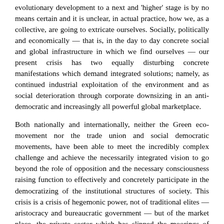evolutionary development to a next and 'higher' stage is by no means certain and it is unclear, in actual practice, how we, as a collective, are going to extricate ourselves. Socially, politically and economically — that is, in the day to day concrete social and global infrastructure in which we find ourselves — our present crisis has two equally disturbing concrete manifestations which demand integrated solutions; namely, as continued industrial exploitation of the environment and as social deterioration through corporate downsizing in an anti-democratic and increasingly all powerful global marketplace.
Both nationally and internationally, neither the Green eco-movement nor the trade union and social democratic movements, have been able to meet the incredibly complex challenge and achieve the necessarily integrated vision to go beyond the role of opposition and the necessary consciousness raising function to effectively and concretely participate in the democratizing of the institutional structures of society. This crisis is a crisis of hegemonic power, not of traditional elites — aristocracy and bureaucratic government — but of the market place, the private sector which has slipped the moorings of liberal humanism and participatory democracy which had increasingly shaped the public domain from the Renaissance through the Enlightenment. Robert N. Bellah writes, "...the greatest threat to our genuine human happiness, to real community and to the creation of a good society